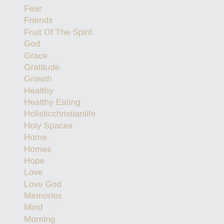Fear
Friends
Fruit Of The Spirit
God
Grace
Gratitude
Growth
Healthy
Healthy Eating
Holisticchristianlife
Holy Spaces
Home
Homes
Hope
Love
Love God
Memories
Mind
Morning
Mothering